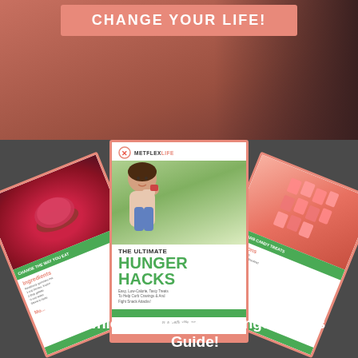CHANGE YOUR LIFE!
[Figure (illustration): Fan of three recipe/guide booklets titled 'The Ultimate Hunger Hacks' with METFLEX LIFE branding, featuring a woman eating, a red bowl, and candy imagery]
Download your FREE Hunger Hacks Guide!